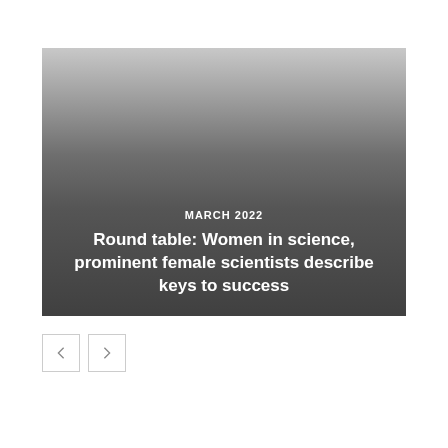[Figure (photo): A dark gradient image (light gray at top fading to dark gray/near-black at bottom) serving as a card background with overlaid text reading 'MARCH 2022' and 'Round table: Women in science, prominent female scientists describe keys to success']
Round table: Women in science, prominent female scientists describe keys to success